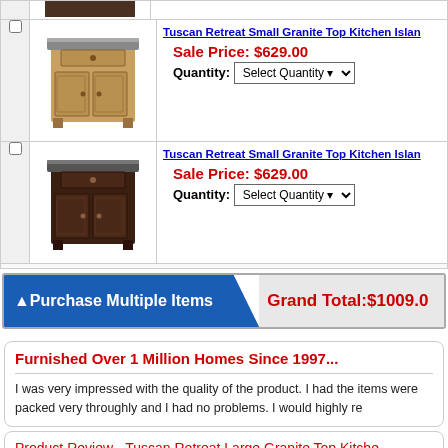[Figure (photo): Small wooden kitchen island with granite top, medium brown/tan finish]
Tuscan Retreat Small Granite Top Kitchen Island
Sale Price: $629.00
Quantity: Select Quantity
[Figure (photo): Small wooden kitchen island with granite top, dark espresso finish]
Tuscan Retreat Small Granite Top Kitchen Island
Sale Price: $629.00
Quantity: Select Quantity
Purchase Multiple Items   Grand Total: $1009.0
Furnished Over 1 Million Homes Since 1997...
I was very impressed with the quality of the product. I had the items were packed very throughly and I had no problems. I would highly re
Product Review - Tuscan Retreat Large Granite Top Kitche